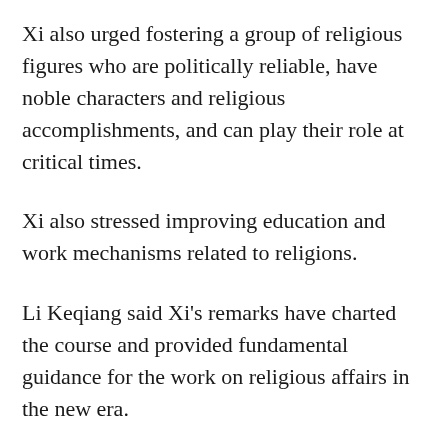Xi also urged fostering a group of religious figures who are politically reliable, have noble characters and religious accomplishments, and can play their role at critical times.
Xi also stressed improving education and work mechanisms related to religions.
Li Keqiang said Xi's remarks have charted the course and provided fundamental guidance for the work on religious affairs in the new era.
Wang Yang said all localities and departments must take studying and implementing the spirit of the conference as an important political task, and ensure the CPC Central Committee's decisions and arrangements are earnestly